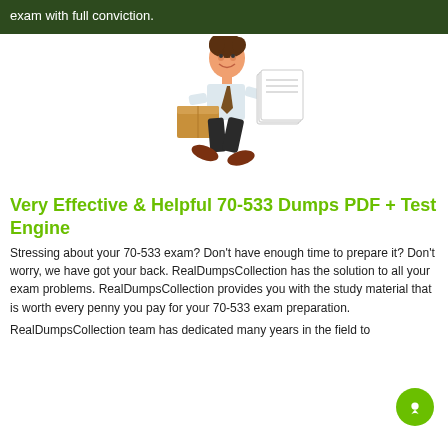exam with full conviction.
[Figure (illustration): Cartoon illustration of a man running while carrying a stack of papers and a box]
Very Effective & Helpful 70-533 Dumps PDF + Test Engine
Stressing about your 70-533 exam? Don't have enough time to prepare it? Don't worry, we have got your back. RealDumpsCollection has the solution to all your exam problems. RealDumpsCollection provides you with the study material that is worth every penny you pay for your 70-533 exam preparation.
RealDumpsCollection team has dedicated many years in the field to